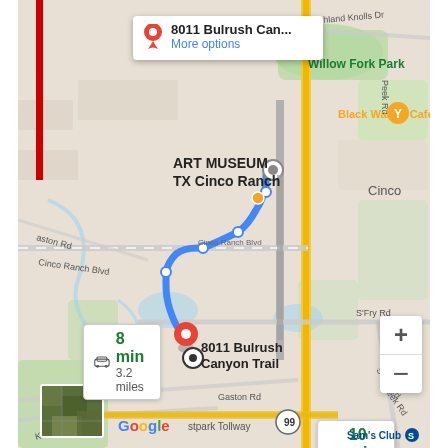[Figure (map): Google Maps screenshot showing a driving route from ART MUSEUM TX Cinco Ranch to 8011 Bulrush Canyon Trail. Two route options shown: 8 min / 3.2 miles (blue highlighted route) and 10 min / 4.1 miles (gray alternate route). Map shows Willow Fork Park, Black Walnut Cafe, Cinco Ranch Blvd, S Fry Rd, Gaston Rd, Katy-Gaston Rd, and Westpark Tollway. A popup at top shows destination '8011 Bulrush Can...' with 'More options' link. Zoom controls (+/-) visible bottom right. Google logo and Sam's Club visible at bottom.]